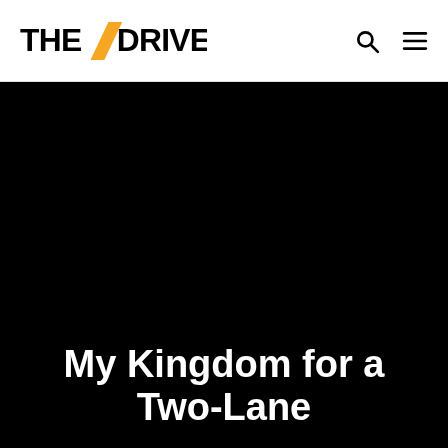THE DRIVE
[Figure (photo): Large black hero image background for article]
My Kingdom for a Two-Lane